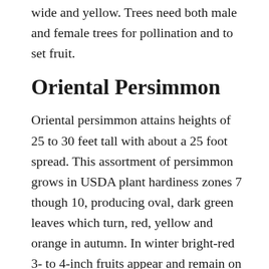wide and yellow. Trees need both male and female trees for pollination and to set fruit.
Oriental Persimmon
Oriental persimmon attains heights of 25 to 30 feet tall with about a 25 foot spread. This assortment of persimmon grows in USDA plant hardiness zones 7 though 10, producing oval, dark green leaves which turn, red, yellow and orange in autumn. In winter bright-red 3- to 4-inch fruits appear and remain on the tree through winter if not picked. Trees do set fruit without pollination, but pollinated trees create